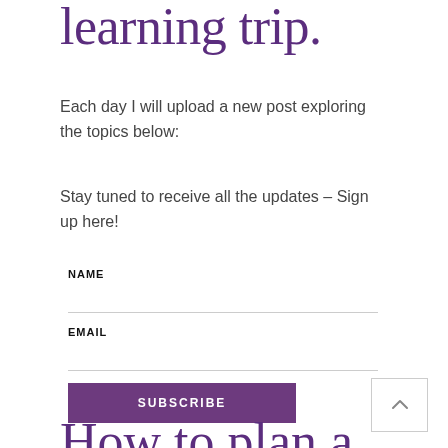learning trip.
Each day I will upload a new post exploring the topics below:
Stay tuned to receive all the updates – Sign up here!
NAME
EMAIL
SUBSCRIBE
How to plan a